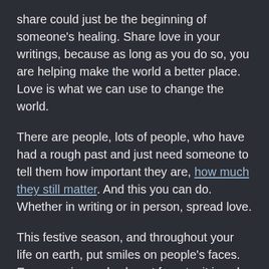share could just be the beginning of someone's healing. Share love in your writings, because as long as you do so, you are helping make the world a better place. Love is what we can use to change the world.
There are people, lots of people, who have had a rough past and just need someone to tell them how important they are, how much they still matter. And this you can do. Whether in writing or in person, spread love.
This festive season, and throughout your life on earth, put smiles on people's faces. Everyone is needy, do not forget – it is only our categories of needs that differ. One could have plenty of material wealth in this world, but deep down their soul, there is a pit that needs filling. It could be mental, physical, spiritual or emotional. Another, on the other hand, could have the blessings of